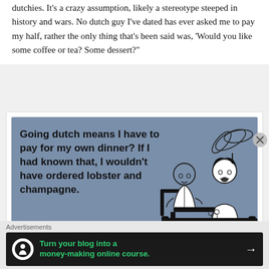dutchies. It's a crazy assumption, likely a stereotype steeped in history and wars. No dutch guy I've dated has ever asked me to pay my half, rather the only thing that's been said was, 'Would you like some coffee or tea? Some dessert?"
[Figure (illustration): An ecard-style image with a steel-blue background. Text reads: 'Going dutch means I have to pay for my own dinner? If I had known that, I wouldn't have ordered lobster and champagne.' On the right side is a vintage black-and-white line drawing of a man and woman at a restaurant table, with a plant in the background.]
Advertisements
[Figure (screenshot): A dark advertisement banner with a white circle icon containing a tree/person logo, green bold text reading 'Turn your blog into a money-making online course.' and a white right-arrow on the right side.]